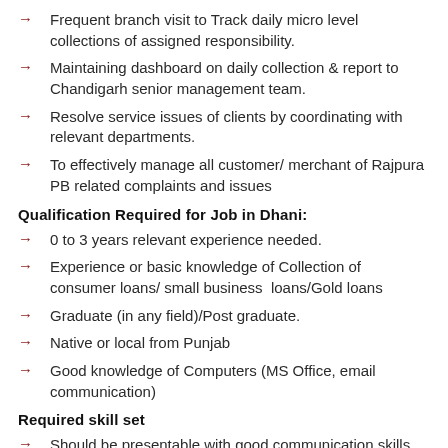Frequent branch visit to Track daily micro level collections of assigned responsibility.
Maintaining dashboard on daily collection & report to Chandigarh senior management team.
Resolve service issues of clients by coordinating with relevant departments.
To effectively manage all customer/ merchant of Rajpura PB related complaints and issues
Qualification Required for Job in Dhani:
0 to 3 years relevant experience needed.
Experience or basic knowledge of Collection of consumer loans/ small business  loans/Gold loans
Graduate (in any field)/Post graduate.
Native or local from Punjab
Good knowledge of Computers (MS Office, email communication)
Required skill set
Should be presentable with good communication skills.